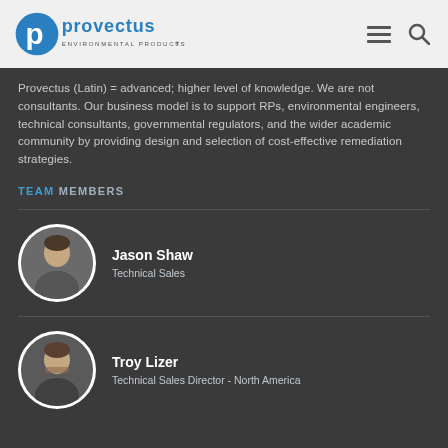[Figure (logo): Provectus Environmental Products logo — blue stylized 'p' icon with 'provectus' text and 'ENVIRONMENTAL PRODUCTS' subtitle]
Provectus (Latin) = advanced; higher level of knowledge. We are not consultants. Our business model is to support RPs, environmental engineers, technical consultants, governmental regulators, and the wider academic community by providing design and selection of cost-effective remediation strategies.
TEAM MEMBERS
Jason Shaw
Technical Sales
Troy Lizer
Technical Sales Director - North America